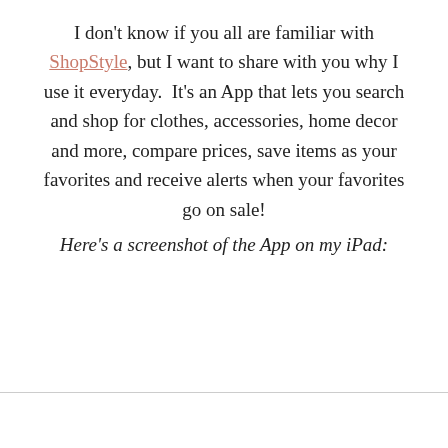I don't know if you all are familiar with ShopStyle, but I want to share with you why I use it everyday.  It's an App that lets you search and shop for clothes, accessories, home decor and more, compare prices, save items as your favorites and receive alerts when your favorites go on sale!
Here's a screenshot of the App on my iPad: